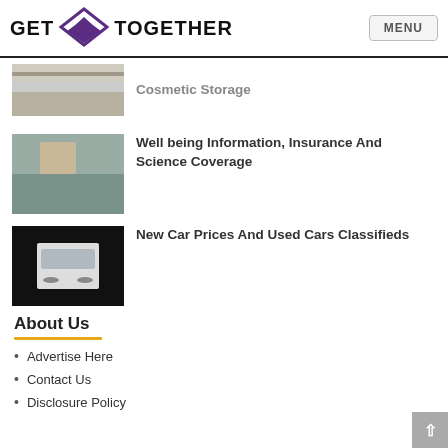[Figure (logo): GET TOGETHER website logo with purple diamond/chevron icon and MENU button]
Cosmetic Storage
[Figure (photo): Shelf storage image for cosmetic storage article]
Well being Information, Insurance And Science Coverage
[Figure (photo): Child sitting on couch reading]
New Car Prices And Used Cars Classifieds
[Figure (photo): Car image on dark background]
About Us
Advertise Here
Contact Us
Disclosure Policy